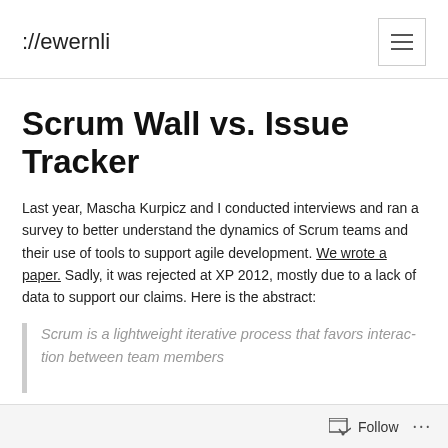://ewernli
Scrum Wall vs. Issue Tracker
Last year, Mascha Kurpicz and I conducted interviews and ran a survey to better understand the dynamics of Scrum teams and their use of tools to support agile development. We wrote a paper. Sadly, it was rejected at XP 2012, mostly due to a lack of data to support our claims. Here is the abstract:
Scrum is a lightweight iterative process that favors interac- tion between team members
Follow